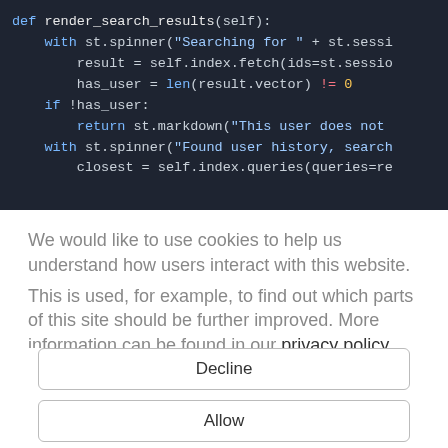[Figure (screenshot): Code editor screenshot showing Python code with syntax highlighting on dark background. Code shows a 'render_search_results' method with spinner calls, index fetch, has_user check, and return statement.]
We would like to use cookies to help us understand how users interact with this website. This is used, for example, to find out which parts of this site should be further improved. More information can be found in our privacy policy.
Decline
Allow